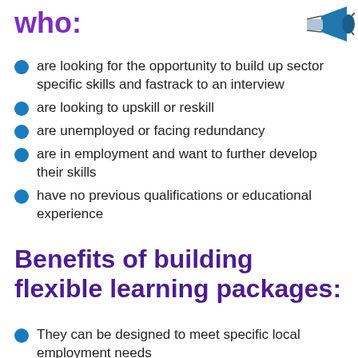who:
[Figure (illustration): Megaphone illustration in blue and dark tones, partially visible in top right corner]
are looking for the opportunity to build up sector specific skills and fastrack to an interview
are looking to upskill or reskill
are unemployed or facing redundancy
are in employment and want to further develop their skills
have no previous qualifications or educational experience
Benefits of building flexible learning packages:
They can be designed to meet specific local employment needs